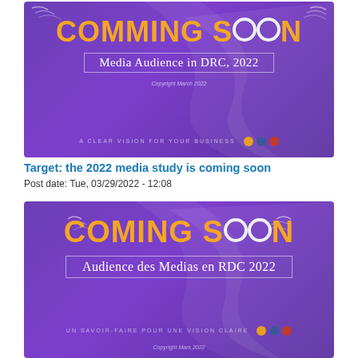[Figure (illustration): Purple promotional banner with 'COMMING SOON' in orange text, subtitle 'Media Audience in DRC, 2022' in white, decorative ribbon SVG background, social icons, copyright notice, and tagline 'A CLEAR VISION FOR YOUR BUSINESS']
Target: the 2022 media study is coming soon
Post date: Tue, 03/29/2022 - 12:08
[Figure (illustration): Purple promotional banner with 'COMING SOON' in orange text, subtitle 'Audience des Medias en RDC 2022' in white, decorative ribbon background, social icons, copyright notice, tagline 'UN SAVOIR-FAIRE POUR UNE VISION CLAIRE']